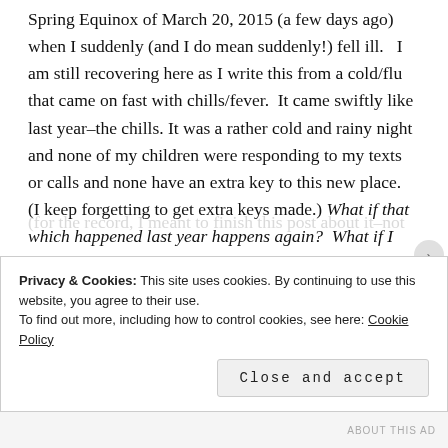Spring Equinox of March 20, 2015 (a few days ago) when I suddenly (and I do mean suddenly!) fell ill.   I am still recovering here as I write this from a cold/flu that came on fast with chills/fever.  It came swiftly like last year–the chills. It was a rather cold and rainy night and none of my children were responding to my texts or calls and none have an extra key to this new place.  (I keep forgetting to get extra keys made.) What if that which happened last year happens again?  What if I loose consciousness with high fever?
(for the record, I meant to finish this post about it–not
Privacy & Cookies: This site uses cookies. By continuing to use this website, you agree to their use.
To find out more, including how to control cookies, see here: Cookie Policy
Close and accept
ABOUT THIS AD